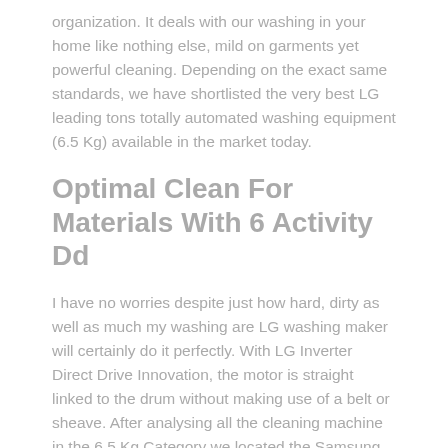organization. It deals with our washing in your home like nothing else, mild on garments yet powerful cleaning. Depending on the exact same standards, we have shortlisted the very best LG leading tons totally automated washing equipment (6.5 Kg) available in the market today.
Optimal Clean For Materials With 6 Activity Dd
I have no worries despite just how hard, dirty as well as much my washing are LG washing maker will certainly do it perfectly. With LG Inverter Direct Drive Innovation, the motor is straight linked to the drum without making use of a belt or sheave. After analysing all the cleaning machine in the 6.5 Kg Category we located the Samsung cleaning device having the highest consumer score would be the very best choice for you. Washing maker becomes one of the leading priority gizmos in our everyday